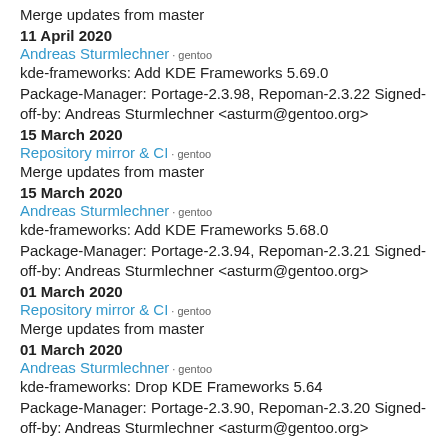Merge updates from master
11 April 2020
Andreas Sturmlechner · gentoo
kde-frameworks: Add KDE Frameworks 5.69.0 Package-Manager: Portage-2.3.98, Repoman-2.3.22 Signed-off-by: Andreas Sturmlechner <asturm@gentoo.org>
15 March 2020
Repository mirror & CI · gentoo
Merge updates from master
15 March 2020
Andreas Sturmlechner · gentoo
kde-frameworks: Add KDE Frameworks 5.68.0 Package-Manager: Portage-2.3.94, Repoman-2.3.21 Signed-off-by: Andreas Sturmlechner <asturm@gentoo.org>
01 March 2020
Repository mirror & CI · gentoo
Merge updates from master
01 March 2020
Andreas Sturmlechner · gentoo
kde-frameworks: Drop KDE Frameworks 5.64 Package-Manager: Portage-2.3.90, Repoman-2.3.20 Signed-off-by: Andreas Sturmlechner <asturm@gentoo.org>